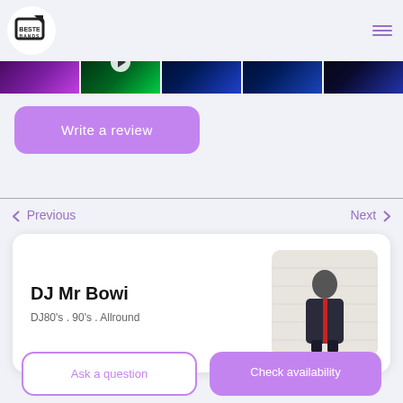[Figure (screenshot): Website header with Beste Bands logo circle on the left and hamburger menu icon on the right]
[Figure (photo): Horizontal strip of 5 concert/stage photos showing colorful stage lighting in purple, green, and blue]
Write a review
< Previous
Next >
DJ Mr Bowi
DJ80's . 90's . Allround
[Figure (photo): Photo of DJ Mr Bowi standing against a white brick wall wearing a dark jacket with a red stripe]
Ask a question
Check availability